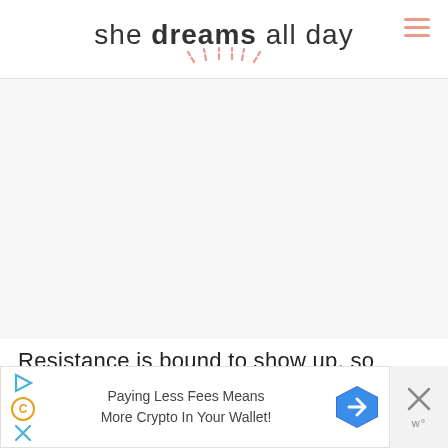she dreams all day
[Figure (illustration): Large blank/white advertisement placeholder area below the header navigation]
Resistance is bound to show up, so having a clear why will help.
[Figure (screenshot): Ad banner: 'Paying Less Fees Means More Crypto In Your Wallet!' with navigation/crypto app icons and a close button]